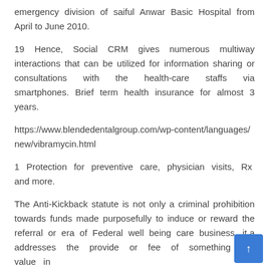emergency division of saiful Anwar Basic Hospital from April to June 2010.
19 Hence, Social CRM gives numerous multiway interactions that can be utilized for information sharing or consultations with the health-care staffs via smartphones. Brief term health insurance for almost 3 years.
https://www.blendedentalgroup.com/wp-content/languages/new/vibramycin.html
1 Protection for preventive care, physician visits, Rx and more.
The Anti-Kickback statute is not only a criminal prohibition towards funds made purposefully to induce or reward the referral or era of Federal well being care business, it a addresses the provide or fee of something of value in